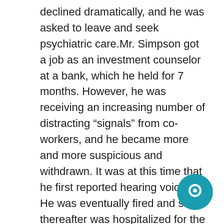declined dramatically, and he was asked to leave and seek psychiatric care.Mr. Simpson got a job as an investment counselor at a bank, which he held for 7 months. However, he was receiving an increasing number of distracting “signals” from co-workers, and he became more and more suspicious and withdrawn. It was at this time that he first reported hearing voices. He was eventually fired and soon thereafter was hospitalized for the first time, at age 24. He has not worked sinceMr. Simpson has been hospitalized 12 times, the longest stay being 8 months. However, in the last 5 years he has been hospitalized only once, for 3 weeks. During the hospitalizations he has received various antipsychotic drugs. Although outpatient medication has been prescribed, he usually stops taking it shortly after leaving the hospital. Aside from twice-yearly lunch meetings with his uncle and his contacts with mental health workers, he is totally
[Figure (other): Teal circular chat bubble icon in the bottom-right corner of the page]